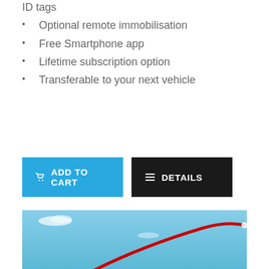ID tags
Optional remote immobilisation
Free Smartphone app
Lifetime subscription option
Transferable to your next vehicle
[Figure (screenshot): Two buttons: blue 'ADD TO CART' button with cart icon and black 'DETAILS' button with list icon]
[Figure (photo): Light blue sky background with a red curved swoosh graphic and white highlights suggesting motion or flight]